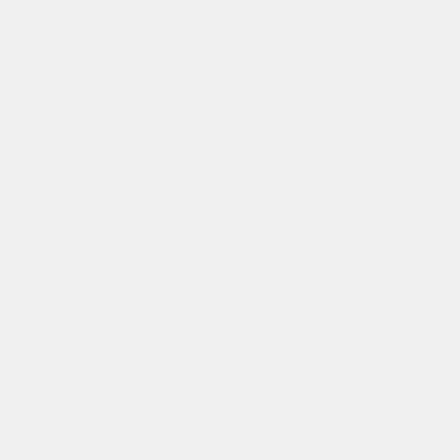| # |  | Title/Series |
| --- | --- | --- |
| 8 |  | The b...
Series:The b... |
| 9 |  | Open w... [Book]
Series:The b... |
| 10 |  | Intergal...
Series:The b... |
| 11 |  | The ret... unicorn [Boo... |
| 12 |  | Pig the... |
| 13 |  | Mission...
Series:The b... |
| 14 |  | Aliens ...
Series:The b... |
| 15 |  | Pig the...
Series:Pig th... |
|  |  | Pi... |